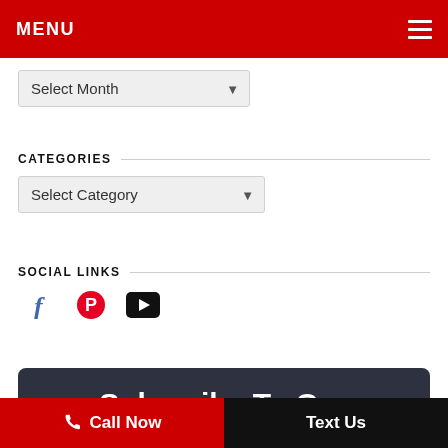MENU
Select Month
CATEGORIES
Select Category
SOCIAL LINKS
[Figure (other): Social media icons: Facebook, Pinterest, YouTube]
Subscribe To Our
Call Now   Text Us